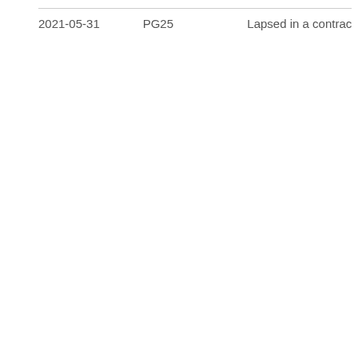| 2021-05-31 | PG25 | Lapsed in a contracting state [announced via |